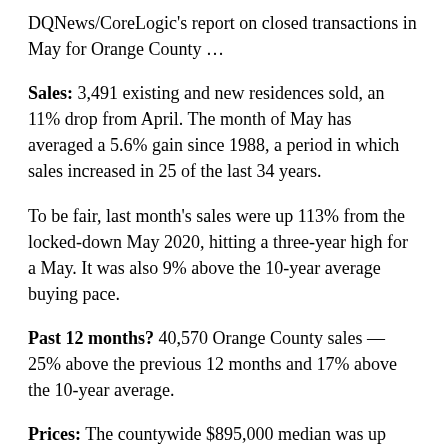DQNews/CoreLogic's report on closed transactions in May for Orange County …
Sales: 3,491 existing and new residences sold, an 11% drop from April. The month of May has averaged a 5.6% gain since 1988, a period in which sales increased in 25 of the last 34 years.
To be fair, last month's sales were up 113% from the locked-down May 2020, hitting a three-year high for a May. It was also 9% above the 10-year average buying pace.
Past 12 months? 40,570 Orange County sales — 25% above the previous 12 months and 17% above the 10-year average.
Prices: The countywide $895,000 median was up $145,000 or 19% over 12 months. Over 10 years, gains